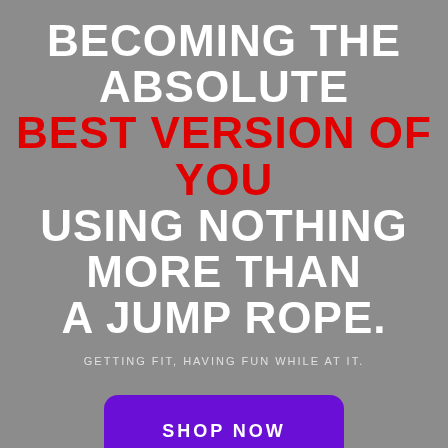BECOMING THE ABSOLUTE BEST VERSION OF YOU USING NOTHING MORE THAN A JUMP ROPE.
GETTING FIT, HAVING FUN WHILE AT IT.
[Figure (other): A purple rounded-rectangle button with the text SHOP NOW in white bold uppercase letters]